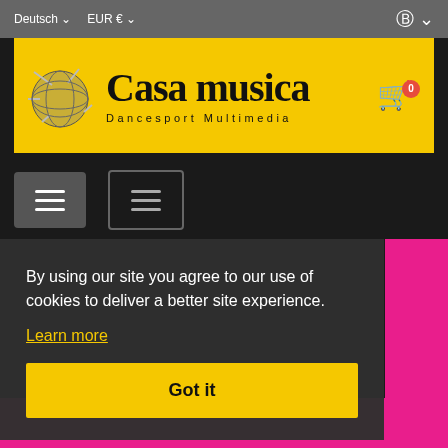Deutsch  EUR €
[Figure (logo): Casa Musica Dancesport Multimedia logo on yellow background with globe graphic]
[Figure (screenshot): Navigation bar with two hamburger menu buttons on dark background]
By using our site you agree to our use of cookies to deliver a better site experience.
Learn more
Got it
[Figure (photo): Partial view of a pink/magenta background with dancers or people at bottom of page]